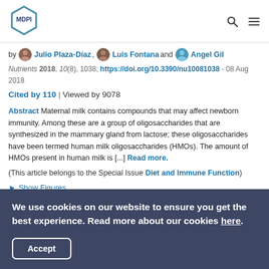MDPI logo with search and menu icons
by Julio Plaza-Díaz, Luis Fontana and Angel Gil
Nutrients 2018, 10(8), 1038; https://doi.org/10.3390/nu10081038 - 08 Aug 2018
Cited by 110 | Viewed by 9078
Abstract Maternal milk contains compounds that may affect newborn immunity. Among these are a group of oligosaccharides that are synthesized in the mammary gland from lactose; these oligosaccharides have been termed human milk oligosaccharides (HMOs). The amount of HMOs present in human milk is [...] Read more.
(This article belongs to the Special Issue Diet and Immune Function)
► Show Figures
We use cookies on our website to ensure you get the best experience. Read more about our cookies here.
Accept